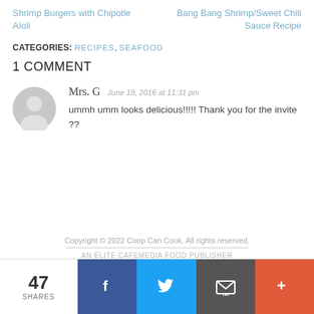Shrimp Burgers with Chipotle Aïoli
Bang Bang Shrimp/Sweet Chili Sauce Recipe
CATEGORIES: RECIPES, SEAFOOD
1 COMMENT
Mrs. G   June 19, 2016 at 11:31 pm
ummh umm looks delicious!!!!! Thank you for the invite ??
Copyright © 2022 Coop Can Cook. All rights reserved.
AN ELITE CAFEMEDIA FOOD PUBLISHER
47 SHARES